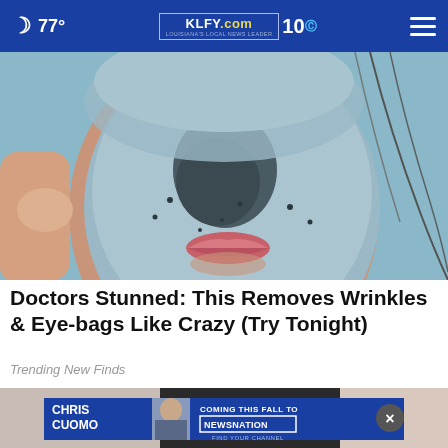77° KLFY.com 10 [hamburger menu]
[Figure (photo): Close-up of a person's face covered in a blue-gray clay facial mask with dark charcoal areas around the nose; a hand is visible at the left edge of the frame.]
Doctors Stunned: This Removes Wrinkles & Eye-bags Like Crazy (Try Tonight)
Trending New Finds
[Figure (photo): Partial bottom image partially obscured by an advertisement overlay featuring Chris Cuomo with text 'COMING THIS FALL TO NEWSNATION FIND YOUR CHANNEL']